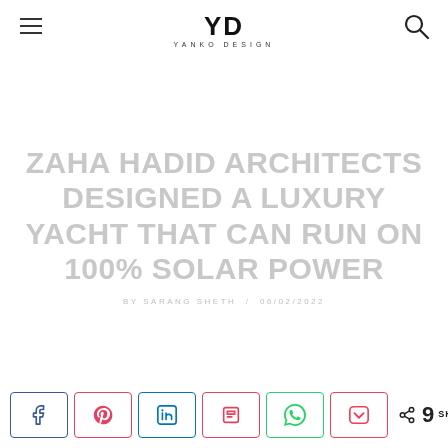YD YANKO DESIGN
ZAHA HADID ARCHITECTS DESIGNED A LUXURY YACHT THAT CAN RUN ON 100% SOLAR POWER
BY SARANG SHETH / 06/02/2022